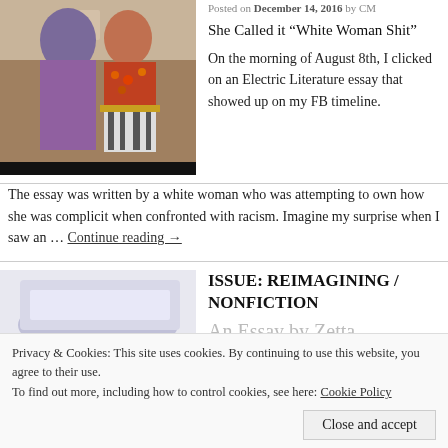[Figure (photo): Two women in colorful traditional clothing, one wearing red and orange, embracing or standing close together]
Posted on December 14, 2016 by CM
She Called it “White Woman Shit”
On the morning of August 8th, I clicked on an Electric Literature essay that showed up on my FB timeline.
The essay was written by a white woman who was attempting to own how she was complicit when confronted with racism. Imagine my surprise when I saw an … Continue reading →
[Figure (photo): A blurred abstract photo with dark browns, whites, and muted tones]
ISSUE: REIMAGINING / NONFICTION
An Essay by Zetta Close By...
December 11, 2016 by CM
One of our jobs as writers concerned with social justice will be to continue...
Privacy & Cookies: This site uses cookies. By continuing to use this website, you agree to their use.
To find out more, including how to control cookies, see here: Cookie Policy
Close and accept